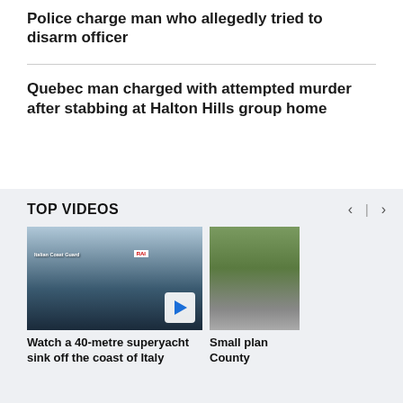Police charge man who allegedly tried to disarm officer
Quebec man charged with attempted murder after stabbing at Halton Hills group home
TOP VIDEOS
[Figure (photo): Video thumbnail showing a yacht or superyacht on dark water, with Italian Coast Guard text overlay and a red logo visible. A play button is shown at bottom right.]
Watch a 40-metre superyacht sink off the coast of Italy
[Figure (photo): Video thumbnail showing a rural road with trees/greenery on one side and a building, with a vehicle visible on the road.]
Small plan County